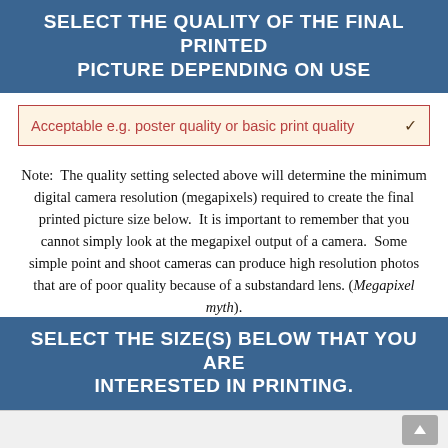SELECT THE QUALITY OF THE FINAL PRINTED PICTURE DEPENDING ON USE
[Figure (screenshot): Dropdown selector showing 'Acceptable e.g. poster quality or basic print quality' with a downward chevron arrow, styled with red border and tan background]
Note:  The quality setting selected above will determine the minimum digital camera resolution (megapixels) required to create the final printed picture size below.  It is important to remember that you cannot simply look at the megapixel output of a camera.  Some simple point and shoot cameras can produce high resolution photos that are of poor quality because of a substandard lens. (Megapixel myth).
SELECT THE SIZE(S) BELOW THAT YOU ARE INTERESTED IN PRINTING.